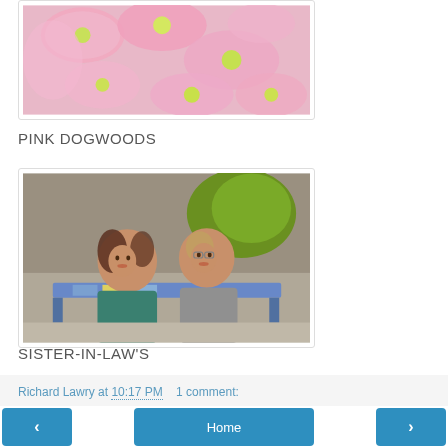[Figure (photo): Pink dogwood flowers, close-up photo]
PINK DOGWOODS
[Figure (photo): Two women sitting on a decorated bench outdoors, smiling]
SISTER-IN-LAW'S
Richard Lawry at 10:17 PM    1 comment:
‹  Home  ›